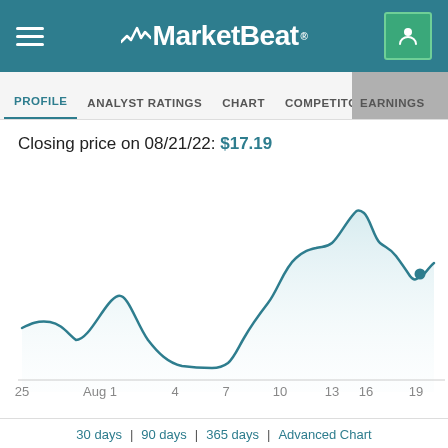MarketBeat
PROFILE | ANALYST RATINGS | CHART | COMPETITORS | DIVIDEND | EARNINGS
Closing price on 08/21/22: $17.19
[Figure (line-chart): Line chart of stock closing price from July 25 to August 21, 2022. Price starts around 14, rises to ~16 around Aug 1, dips to ~12 around Aug 4, rises sharply to ~18 around Aug 13, peaks near ~21 around Aug 16, then drops to ~17.19 on Aug 21 marked with a dot.]
30 days | 90 days | 365 days | Advanced Chart